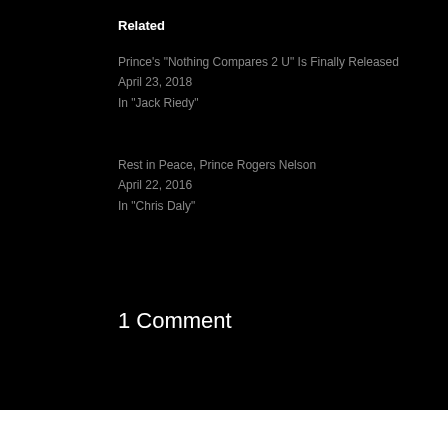Related
Prince's "Nothing Compares 2 U" Is Finally Released
April 23, 2018
In "Jack Riedy"
Rest in Peace, Prince Rogers Nelson
April 22, 2016
In "Chris Daly"
1 Comment